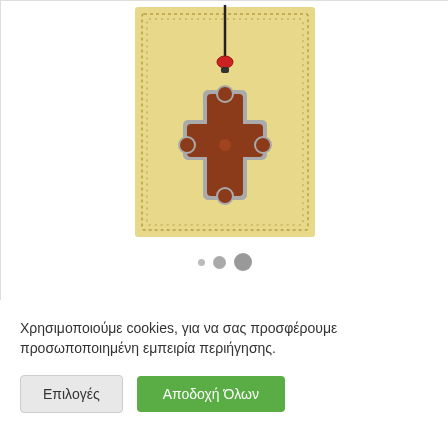[Figure (photo): A decorative bookmark with a parchment-colored background and dotted border frame, featuring a cross pendant on a cord with a red bead accent. The cross is brown/reddish with silver trim in an Orthodox style.]
Χρησιμοποιούμε cookies, για να σας προσφέρουμε προσωποποιημένη εμπειρία περιήγησης.
Επιλογές
Αποδοχή Όλων